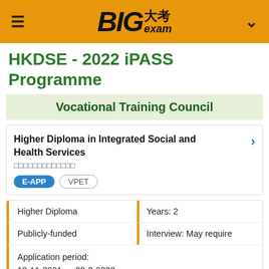BIG大考exam
HKDSE - 2022 iPASS Programme
Vocational Training Council
Higher Diploma in Integrated Social and Health Services
□□□□□□□□□□□□□
E-APP  VPET
| Higher Diploma | Years: 2 |
| Publicly-funded | Interview: May require |
| Application period:
18-11-2021 — 28-2-2022 |  |
We and our partners use cookies and collect browsing data to give you the best online experience and to